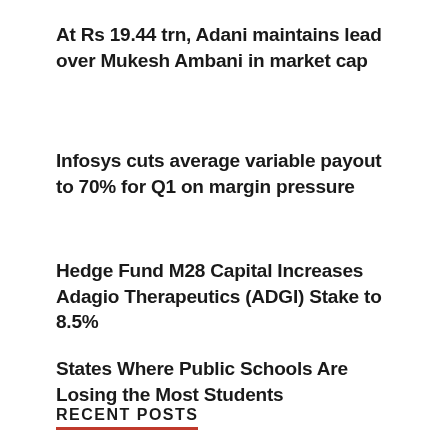At Rs 19.44 trn, Adani maintains lead over Mukesh Ambani in market cap
Infosys cuts average variable payout to 70% for Q1 on margin pressure
Hedge Fund M28 Capital Increases Adagio Therapeutics (ADGI) Stake to 8.5%
States Where Public Schools Are Losing the Most Students
RECENT POSTS